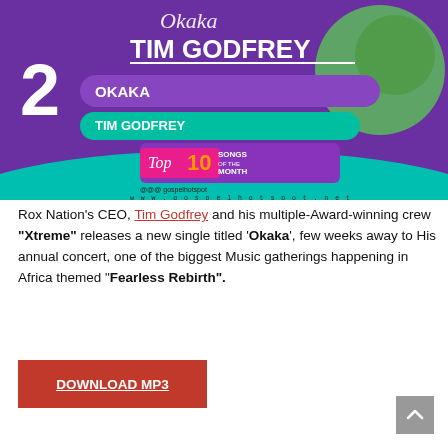[Figure (illustration): Gospel Hotspot Top 10 Songs of the Month promotional image showing number 2 - Okaka by Tim Godfrey. Purple and teal background with bold text and a Top 10 Songs of the Month badge.]
Rox Nation's CEO, Tim Godfrey and his multiple-Award-winning crew "Xtreme" releases a new single titled 'Okaka', few weeks away to His annual concert, one of the biggest Music gatherings happening in Africa themed "Fearless Rebirth".
DOWNLOAD MP3